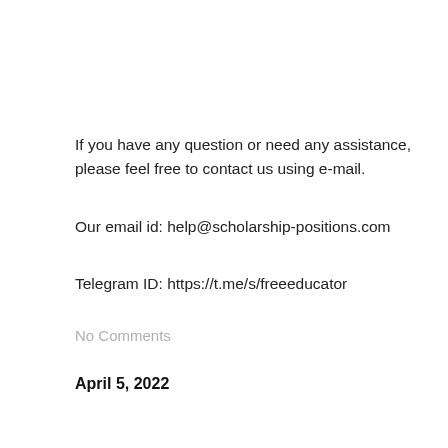If you have any question or need any assistance, please feel free to contact us using e-mail.
Our email id: help@scholarship-positions.com
Telegram ID: https://t.me/s/freeeducator
No Comments
April 5, 2022